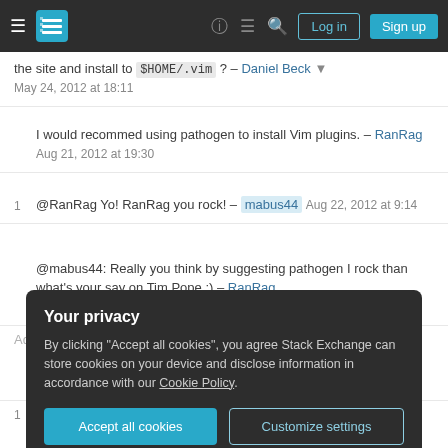Stack Exchange navigation bar with hamburger menu, logo, help, chat, search icons, Log in and Sign up buttons
the site and install to $HOME/.vim ? – Daniel Beck May 24, 2012 at 18:11
I would recommed using pathogen to install Vim plugins. – RanRag Aug 21, 2012 at 19:30
1   @RanRag Yo! RanRag you rock! – mabus44 Aug 22, 2012 at 9:14
@mabus44: Really you think by suggesting pathogen I rock than what's your say on Tim Pope :) – RanRag Aug 22, 2012 at 9:31
Add a comment
Your privacy
By clicking "Accept all cookies", you agree Stack Exchange can store cookies on your device and disclose information in accordance with our Cookie Policy.
Accept all cookies   Customize settings
Plugins are to be installed in ... (you must create this folder yourself) and settings are to be